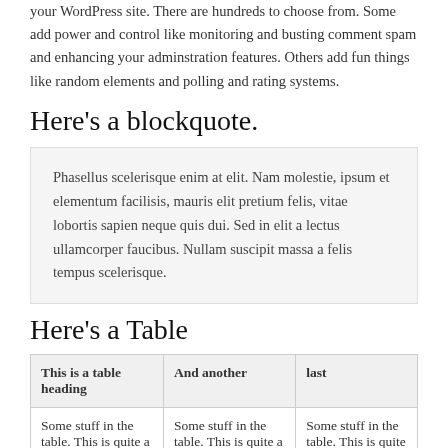your WordPress site. There are hundreds to choose from. Some add power and control like monitoring and busting comment spam and enhancing your adminstration features. Others add fun things like random elements and polling and rating systems.
Here's a blockquote.
Phasellus scelerisque enim at elit. Nam molestie, ipsum et elementum facilisis, mauris elit pretium felis, vitae lobortis sapien neque quis dui. Sed in elit a lectus ullamcorper faucibus. Nullam suscipit massa a felis tempus scelerisque.
Here's a Table
| This is a table heading | And another | last |
| --- | --- | --- |
| Some stuff in the table. This is quite a long piece of text | Some stuff in the table. This is quite a long piece of text | Some stuff in the table. This is quite a long piece of text |
| Some stuff in the | Some stuff in the | Some stuff in the |